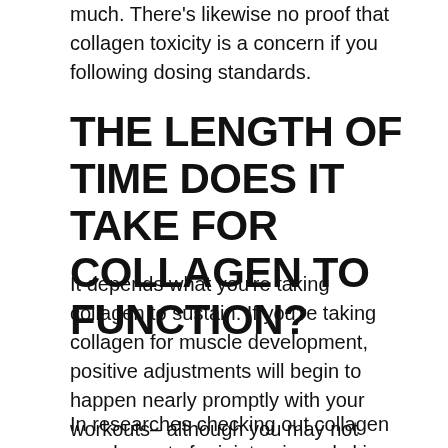much. There's likewise no proof that collagen toxicity is a concern if you following dosing standards.
THE LENGTH OF TIME DOES IT TAKE FOR COLLAGEN TO FUNCTION?
It depends what you're taking collagen to sustain. If you're taking collagen for muscle development, positive adjustments will begin to happen nearly promptly with your workouts– although you may not discover the progression right now.
In researches checking out collagen supplements for joint pain and skin elasticity, individuals experience about...